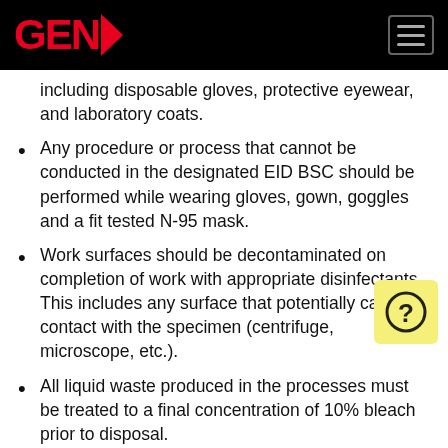GENP
including disposable gloves, protective eyewear, and laboratory coats.
Any procedure or process that cannot be conducted in the designated EID BSC should be performed while wearing gloves, gown, goggles and a fit tested N-95 mask.
Work surfaces should be decontaminated on completion of work with appropriate disinfectants. This includes any surface that potentially came in contact with the specimen (centrifuge, microscope, etc.).
All liquid waste produced in the processes must be treated to a final concentration of 10% bleach prior to disposal.
2. Reagents to Be Prepared Before